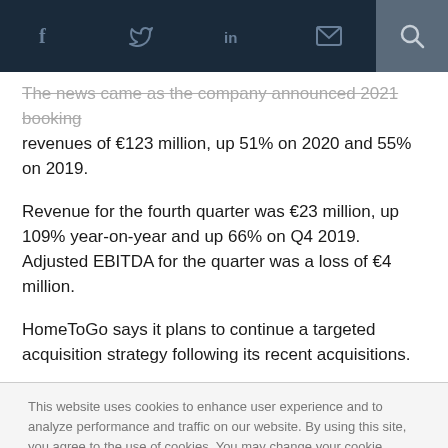Social navigation bar with Facebook, Twitter, LinkedIn, email, and search icons
The news came as the company announced 2021 booking revenues of €123 million, up 51% on 2020 and 55% on 2019.
Revenue for the fourth quarter was €23 million, up 109% year-on-year and up 66% on Q4 2019. Adjusted EBITDA for the quarter was a loss of €4 million.
HomeToGo says it plans to continue a targeted acquisition strategy following its recent acquisitions.
This website uses cookies to enhance user experience and to analyze performance and traffic on our website. By using this site, you agree to the use of cookies. You may change your cookie settings at any time, but the site may not function properly.  Cookie Policy